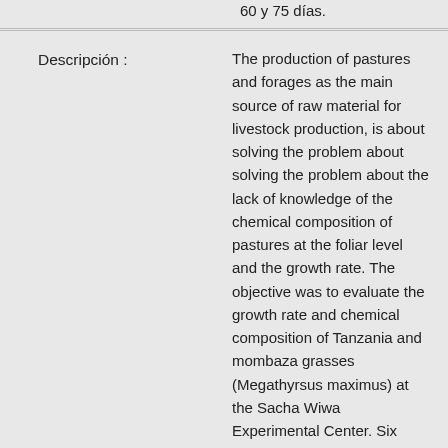60 y 75 días.
Descripción :
The production of pastures and forages as the main source of raw material for livestock production, is about solving the problem about solving the problem about the lack of knowledge of the chemical composition of pastures at the foliar level and the growth rate. The objective was to evaluate the growth rate and chemical composition of Tanzania and mombaza grasses (Megathyrsus maximus) at the Sacha Wiwa Experimental Center. Six pasture plots were used, with four treatments and six replications, applying a completely randomized block design and Tukey´s multiple range test at 5 % probability. Soil and foliar laboratory analyzes were carried out to determine the